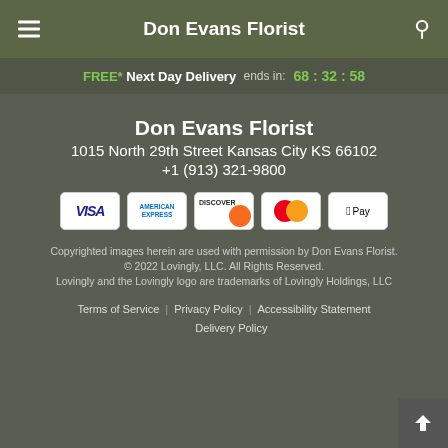Don Evans Florist
FREE* Next Day Delivery ends in: 68 : 32 : 58
Don Evans Florist
1015 North 29th Street Kansas City KS 66102
+1 (913) 321-9800
[Figure (logo): Row of payment method icons: Visa, American Express, Discover, Mastercard, Apple Pay]
Copyrighted images herein are used with permission by Don Evans Florist.
© 2022 Lovingly, LLC. All Rights Reserved.
Lovingly and the Lovingly logo are trademarks of Lovingly Holdings, LLC
Terms of Service | Privacy Policy | Accessibility Statement | Delivery Policy